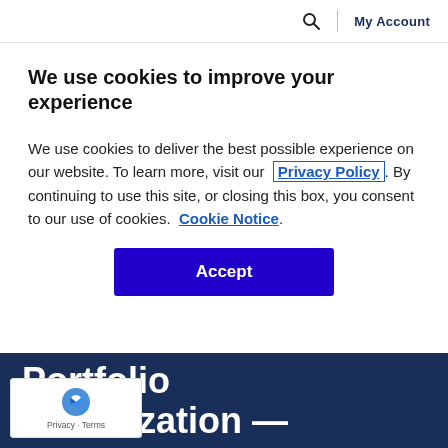🔍 | My Account
We use cookies to improve your experience
We use cookies to deliver the best possible experience on our website. To learn more, visit our Privacy Policy. By continuing to use this site, or closing this box, you consent to our use of cookies. Cookie Notice.
Accept
Portfolio Prioritization —